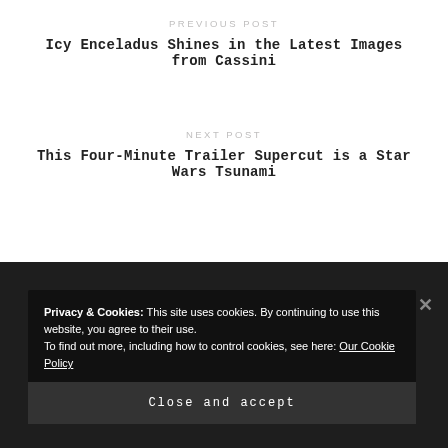PREVIOUS POST
Icy Enceladus Shines in the Latest Images from Cassini
NEXT POST
This Four-Minute Trailer Supercut is a Star Wars Tsunami
Privacy & Cookies: This site uses cookies. By continuing to use this website, you agree to their use.
To find out more, including how to control cookies, see here: Our Cookie Policy
Close and accept